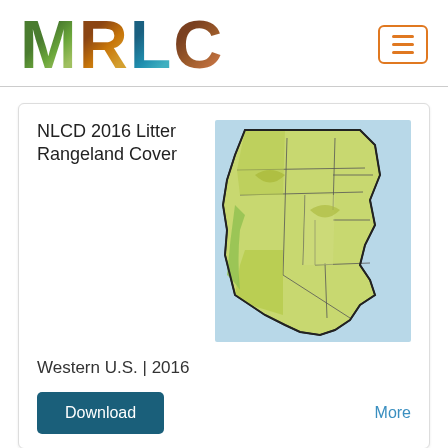[Figure (logo): MRLC logo with nature-textured letters]
NLCD 2016 Litter Rangeland Cover
[Figure (map): Map of Western United States showing rangeland cover data for 2016]
Western U.S. | 2016
Download
More